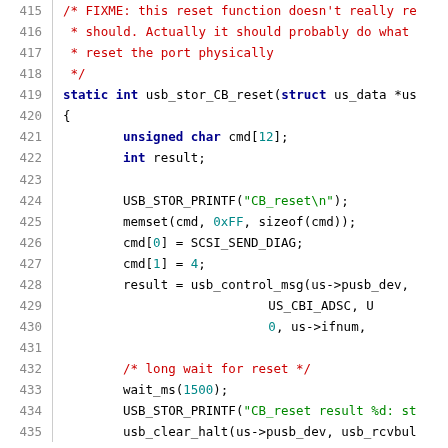[Figure (screenshot): Source code listing showing C function usb_stor_CB_reset with line numbers 415-435. Code uses syntax highlighting: red for comments, dark blue bold for keywords, green for string literals, teal for hex/numeric literals.]